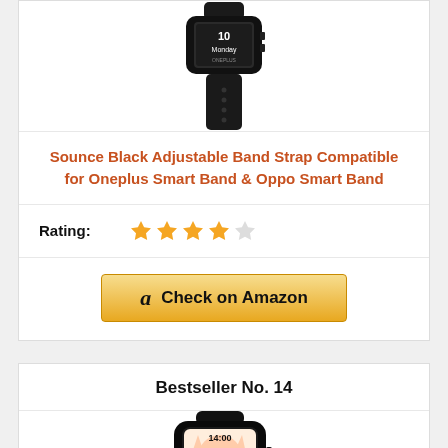[Figure (photo): Black smartband/fitness tracker (OnePlus Smart Band) shown from the front, partially cropped at the top]
Sounce Black Adjustable Band Strap Compatible for Oneplus Smart Band & Oppo Smart Band
Rating: ★★★★☆ (4 out of 5 stars)
Check on Amazon
Bestseller No. 14
[Figure (photo): Black smartband showing colorful cat face watch face displaying 14:00, partially cropped at the bottom]